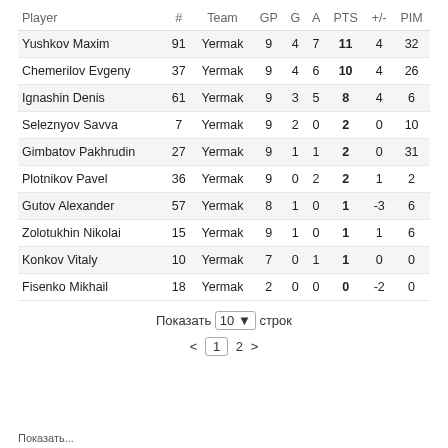| Player | # | Team | GP | G | A | PTS | +/- | PIM |
| --- | --- | --- | --- | --- | --- | --- | --- | --- |
| Yushkov Maxim | 91 | Yermak | 9 | 4 | 7 | 11 | 4 | 32 |
| Chemerilov Evgeny | 37 | Yermak | 9 | 4 | 6 | 10 | 4 | 26 |
| Ignashin Denis | 61 | Yermak | 9 | 3 | 5 | 8 | 4 | 6 |
| Seleznyov Savva | 7 | Yermak | 9 | 2 | 0 | 2 | 0 | 10 |
| Gimbatov Pakhrudin | 27 | Yermak | 9 | 1 | 1 | 2 | 0 | 31 |
| Plotnikov Pavel | 36 | Yermak | 9 | 0 | 2 | 2 | 1 | 2 |
| Gutov Alexander | 57 | Yermak | 8 | 1 | 0 | 1 | -3 | 6 |
| Zolotukhin Nikolai | 15 | Yermak | 9 | 1 | 0 | 1 | 1 | 6 |
| Konkov Vitaly | 10 | Yermak | 7 | 0 | 1 | 1 | 0 | 0 |
| Fisenko Mikhail | 18 | Yermak | 2 | 0 | 0 | 0 | -2 | 0 |
Показать 10 строк
< 1 2 >